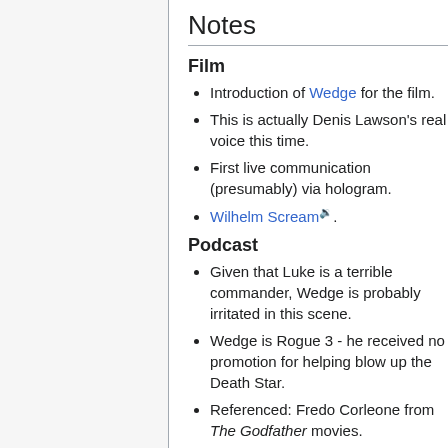Notes
Film
Introduction of Wedge for the film.
This is actually Denis Lawson's real voice this time.
First live communication (presumably) via hologram.
Wilhelm Scream🔊.
Podcast
Given that Luke is a terrible commander, Wedge is probably irritated in this scene.
Wedge is Rogue 3 - he received no promotion for helping blow up the Death Star.
Referenced: Fredo Corleone from The Godfather movies.